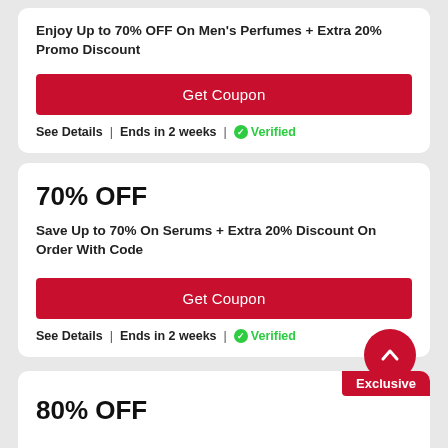Enjoy Up to 70% OFF On Men's Perfumes + Extra 20% Promo Discount
Get Coupon
See Details | Ends in 2 weeks | Verified
70% OFF
Save Up to 70% On Serums + Extra 20% Discount On Order With Code
Get Coupon
See Details | Ends in 2 weeks | Verified
80% OFF